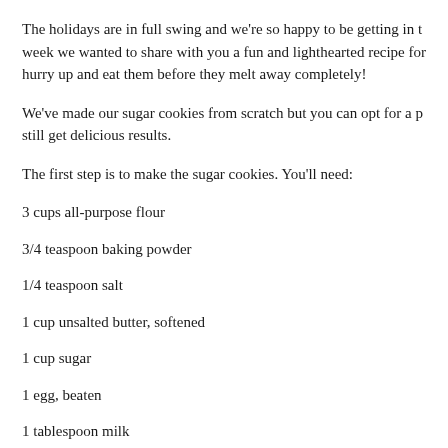The holidays are in full swing and we're so happy to be getting in t… week we wanted to share with you a fun and lighthearted recipe for… hurry up and eat them before they melt away completely!
We've made our sugar cookies from scratch but you can opt for a p… still get delicious results.
The first step is to make the sugar cookies. You'll need:
3 cups all-purpose flour
3/4 teaspoon baking powder
1/4 teaspoon salt
1 cup unsalted butter, softened
1 cup sugar
1 egg, beaten
1 tablespoon milk
Powdered sugar, or flour, for rolling out dough